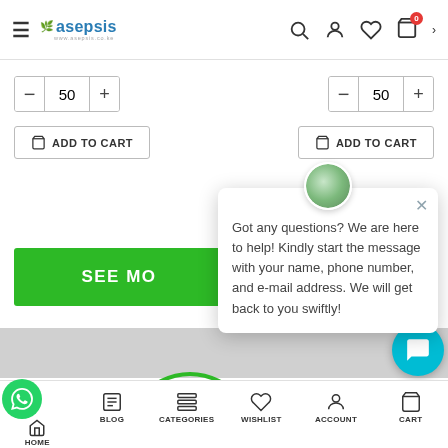asepsis — navigation header with hamburger, logo, search, user, wishlist, cart icons
— 50 +   — 50 +
ADD TO CART   ADD TO CART
SEE MO[RE]
Got any questions? We are here to help! Kindly start the message with your name, phone number, and e-mail address. We will get back to you swiftly!
HOME   BLOG   CATEGORIES   WISHLIST   ACCOUNT   CART